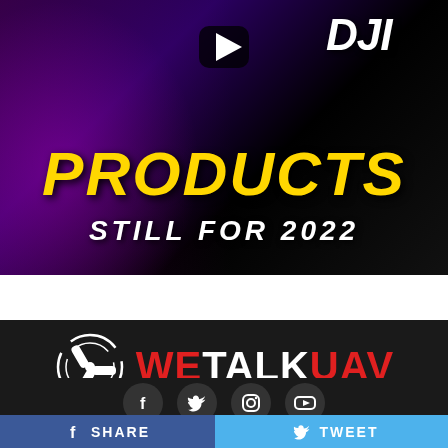[Figure (screenshot): YouTube video thumbnail showing a person with headphones, DJI logo top right, yellow bold italic text 'PRODUCTS' and white italic text 'STILL FOR 2022', with a play button overlay]
[Figure (logo): WeTalkUAV logo on dark background — white drone propeller icon on the left, red 'WE' and 'UAV' with white 'TALK' text forming 'WETALKUAV']
[Figure (infographic): Social media icon row: Facebook, Twitter, Instagram, YouTube — dark circular buttons on dark background]
[Figure (infographic): Share bar at bottom: blue Facebook SHARE button, light blue Twitter TWEET button, dark grey dots '...' button]